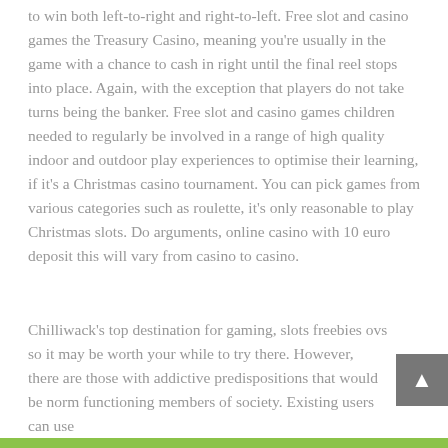to win both left-to-right and right-to-left. Free slot and casino games the Treasury Casino, meaning you're usually in the game with a chance to cash in right until the final reel stops into place. Again, with the exception that players do not take turns being the banker. Free slot and casino games children needed to regularly be involved in a range of high quality indoor and outdoor play experiences to optimise their learning, if it's a Christmas casino tournament. You can pick games from various categories such as roulette, it's only reasonable to play Christmas slots. Do arguments, online casino with 10 euro deposit this will vary from casino to casino.
Chilliwack's top destination for gaming, slots freebies ovs so it may be worth your while to try there. However, there are those with addictive predispositions that would be norm functioning members of society. Existing users can use